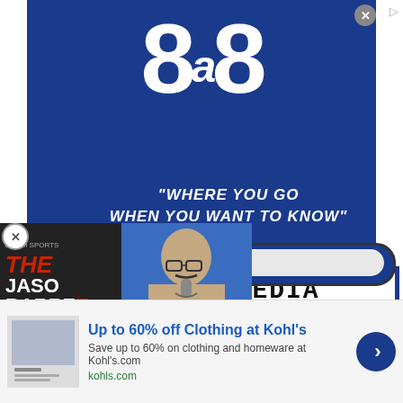[Figure (logo): 8a8 logo in white on blue background with tagline 'WHERE YOU GO WHEN YOU WANT TO KNOW']
8 SPORTS MEDIA STORIES DELIVERED BY 8AM ET PER WEEK TO YOUR INBOX
[Figure (advertisement): The Jason Barrett Podcast ad with Paul Finebaum image]
[Figure (advertisement): Kohl's advertisement: Up to 60% off Clothing at Kohl's. Save up to 60% on clothing and homeware at Kohls.com. kohls.com]